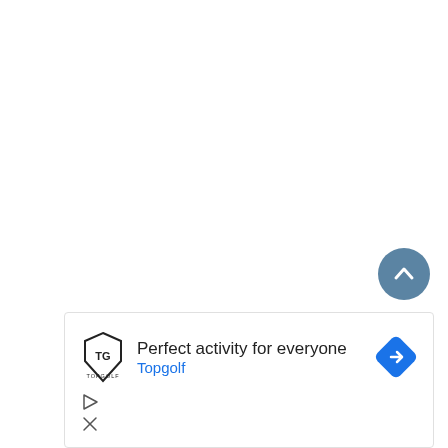[Figure (other): Scroll-to-top circular button (steel blue) with upward chevron icon]
[Figure (other): Share circular button (steel blue) with share/network icon]
[Figure (other): Topgolf advertisement banner with logo, text 'Perfect activity for everyone', brand name 'Topgolf', navigation arrow icon, and ad control buttons (play/close)]